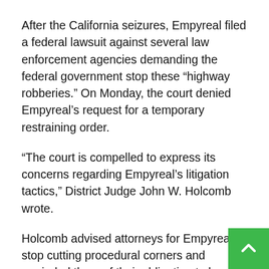After the California seizures, Empyreal filed a federal lawsuit against several law enforcement agencies demanding the federal government stop these “highway robberies.” On Monday, the court denied Empyreal’s request for a temporary restraining order.
“The court is compelled to express its concerns regarding Empyreal’s litigation tactics,” District Judge John W. Holcomb wrote.
Holcomb advised attorneys for Empyreal to stop cutting procedural corners and reminded them of their obligation to be candid with the court.
Information gathered from interviews, court documents, police reports, and a viewing of the dashboard camera video...